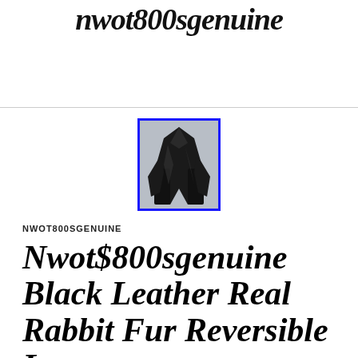nwot800sgenuine
[Figure (photo): Product photo of a black leather and fur coat, displayed against a light grey background, with a blue border frame]
NWOT800SGENUINE
Nwot$800sgenuine Black Leather Real Rabbit Fur Reversible Long